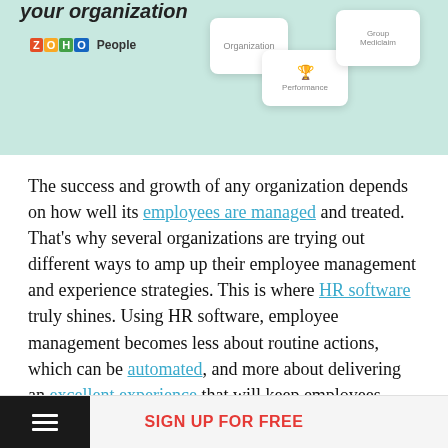[Figure (screenshot): Zoho People HR software UI screenshot showing Organization, Performance, and Group Mediclaim cards on a teal/mint background with Zoho People logo]
The success and growth of any organization depends on how well its employees are managed and treated. That's why several organizations are trying out different ways to amp up their employee management and experience strategies. This is where HR software truly shines. Using HR software, employee management becomes less about routine actions, which can be automated, and more about delivering an excellent experience that will keep employees motivated and happy. Every aspect of your HR operations, from onboarding to offboarding, can be
SIGN UP FOR FREE